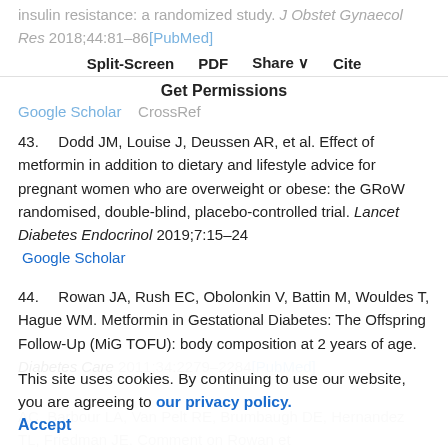insulin resistance: a randomized study. J Obstet Gynaecol Res 2018;44:81–86[PubMed]
Split-Screen | PDF | Share | Cite | Get Permissions
Google Scholar   CrossRef
43. Dodd JM, Louise J, Deussen AR, et al. Effect of metformin in addition to dietary and lifestyle advice for pregnant women who are overweight or obese: the GRoW randomised, double-blind, placebo-controlled trial. Lancet Diabetes Endocrinol 2019;7:15–24  Google Scholar
44. Rowan JA, Rush EC, Obolonkin V, Battin M, Wouldes T, Hague WM. Metformin in Gestational Diabetes: The Offspring Follow-Up (MiG TOFU): body composition at 2 years of age. Diabetes Care 2011;34:2279–2284[PubMed]
This site uses cookies. By continuing to use our website, you are agreeing to our privacy policy. Accept